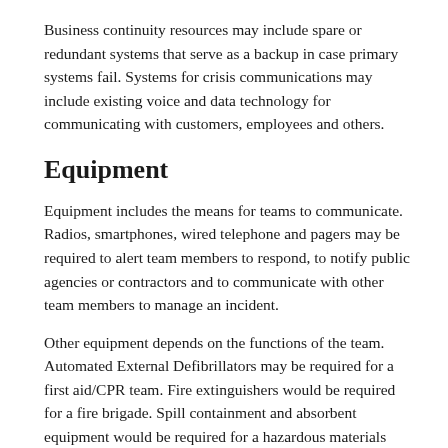Business continuity resources may include spare or redundant systems that serve as a backup in case primary systems fail. Systems for crisis communications may include existing voice and data technology for communicating with customers, employees and others.
Equipment
Equipment includes the means for teams to communicate. Radios, smartphones, wired telephone and pagers may be required to alert team members to respond, to notify public agencies or contractors and to communicate with other team members to manage an incident.
Other equipment depends on the functions of the team. Automated External Defibrillators may be required for a first aid/CPR team. Fire extinguishers would be required for a fire brigade. Spill containment and absorbent equipment would be required for a hazardous materials response team or trained employees working in their assigned workspace. Personal protective equipment including hearing, eye, face and foot protection may be required for employees as part